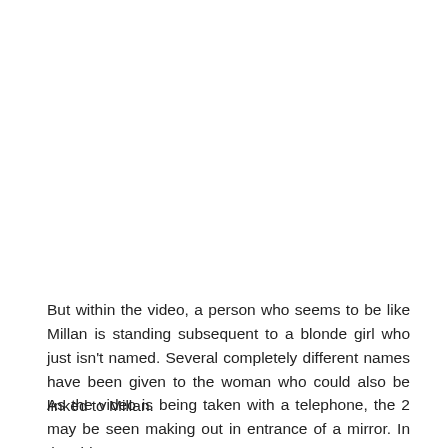But within the video, a person who seems to be like Millan is standing subsequent to a blonde girl who just isn't named. Several completely different names have been given to the woman who could also be linked to Millan.
As the video is being taken with a telephone, the 2 may be seen making out in entrance of a mirror. In the video, you